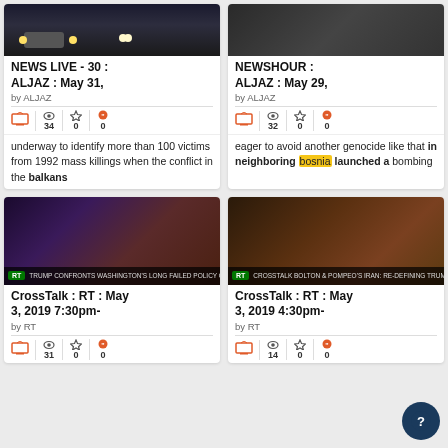[Figure (screenshot): News card grid showing TV show listings from archive.org TV News Search. Top row: NEWS LIVE - 30 : ALJAZ : May 31 and NEWSHOUR : ALJAZ : May 29. Bottom row: CrossTalk : RT : May 3, 2019 7:30pm and CrossTalk : RT : May 3, 2019 4:30pm.]
NEWS LIVE - 30 : ALJAZ : May 31,
by ALJAZ
34 views, 0 stars, 0 quotes
underway to identify more than 100 victims from 1992 mass killings when the conflict in the balkans
NEWSHOUR : ALJAZ : May 29,
by ALJAZ
32 views, 0 stars, 0 quotes
eager to avoid another genocide like that in neighboring bosnia launched a bombing
CrossTalk : RT : May 3, 2019 7:30pm-
by RT
31 views, 0 stars, 0 quotes
CrossTalk : RT : May 3, 2019 4:30pm-
by RT
14 views, 0 stars, 0 quotes